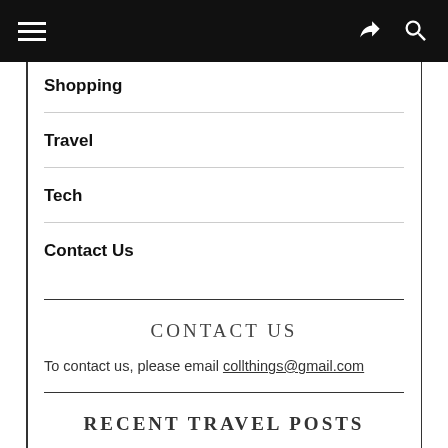Navigation menu bar with hamburger icon, share icon, and search icon
Shopping
Travel
Tech
Contact Us
CONTACT US
To contact us, please email collthings@gmail.com
RECENT TRAVEL POSTS